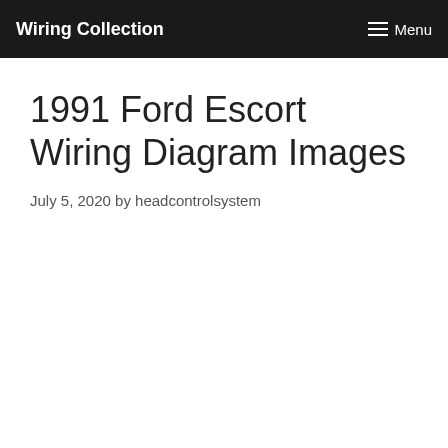Wiring Collection   Menu
1991 Ford Escort Wiring Diagram Images
July 5, 2020 by headcontrolsystem